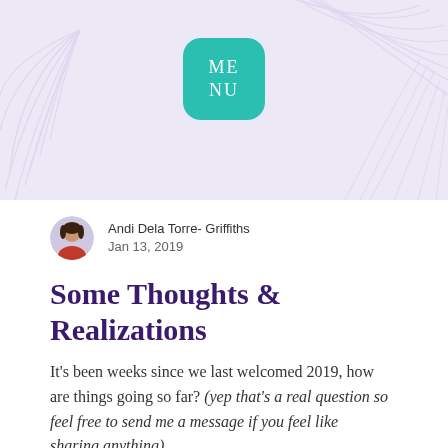[Figure (illustration): Lavender/purple background header area with decorative white palm/tropical leaf outlines]
[Figure (logo): Teal/turquoise rounded square menu button with text ME NU in white serif font]
Andi Dela Torre- Griffiths
Jan 13, 2019
Some Thoughts & Realizations
It's been weeks since we last welcomed 2019, how are things going so far? (yep that's a real question so feel free to send me a message if you feel like sharing anything).